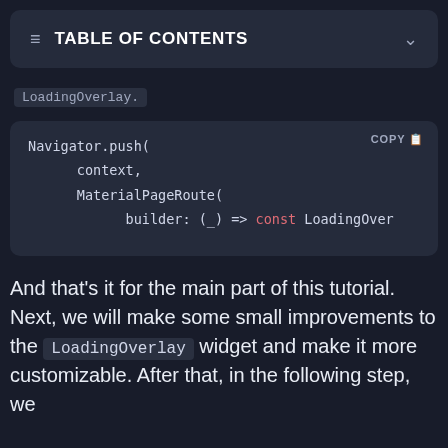TABLE OF CONTENTS
LoadingOverlay.
[Figure (screenshot): Code block showing Navigator.push( context, MaterialPageRoute( builder: (_) => const LoadingOver with a COPY button in top right]
And that's it for the main part of this tutorial. Next, we will make some small improvements to the LoadingOverlay widget and make it more customizable. After that, in the following step, we